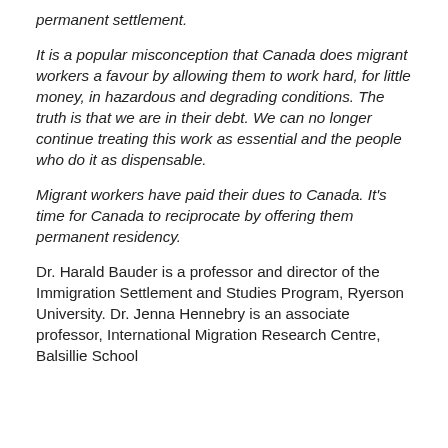permanent settlement.
It is a popular misconception that Canada does migrant workers a favour by allowing them to work hard, for little money, in hazardous and degrading conditions. The truth is that we are in their debt. We can no longer continue treating this work as essential and the people who do it as dispensable.
Migrant workers have paid their dues to Canada. It's time for Canada to reciprocate by offering them permanent residency.
Dr. Harald Bauder is a professor and director of the Immigration Settlement and Studies Program, Ryerson University. Dr. Jenna Hennebry is an associate professor, International Migration Research Centre, Balsillie School